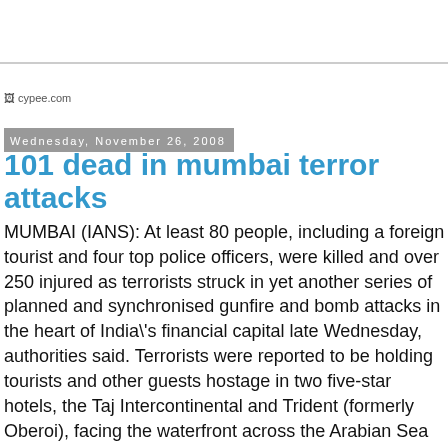[Figure (logo): cypee.com logo/image placeholder text]
Wednesday, November 26, 2008
101 dead in mumbai terror attacks
MUMBAI (IANS): At least 80 people, including a foreign tourist and four top police officers, were killed and over 250 injured as terrorists struck in yet another series of planned and synchronised gunfire and bomb attacks in the heart of India\'s financial capital late Wednesday, authorities said. Terrorists were reported to be holding tourists and other guests hostage in two five-star hotels, the Taj Intercontinental and Trident (formerly Oberoi), facing the waterfront across the Arabian Sea close to the city\'s most important landmark, the Gateway of India. Four top police officials, including Anti-Terrorism Squad (ATS) chief Hemant Karkare, were among the 10 policemen killed in the gunbattles with the terrorists, police confirmed. Among terror